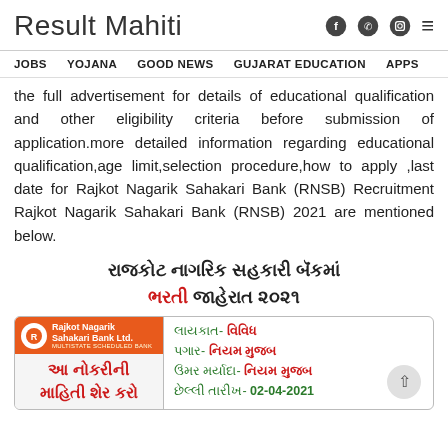Result Mahiti
the full advertisement for details of educational qualification and other eligibility criteria before submission of application.more detailed information regarding educational qualification,age limit,selection procedure,how to apply ,last date for Rajkot Nagarik Sahakari Bank (RNSB) Recruitment Rajkot Nagarik Sahakari Bank (RNSB) 2021 are mentioned below.
રાજકોટ નાગરિક સહકારી બૅંકમાં ભરતી જાહેરાત ૨૦૨૧
[Figure (infographic): Rajkot Nagarik Sahakari Bank recruitment info card with bank logo and details: લાયકાત- વિવિધ, પગાર- નિયમ મુજબ, ઉંમર મર્યાદા- નિયમ મુજબ, છેલ્લી તારીખ- 02-04-2021]